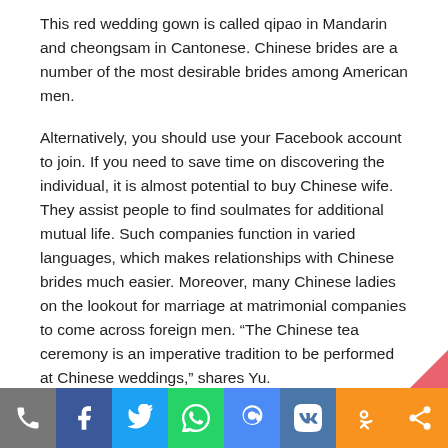This red wedding gown is called qipao in Mandarin and cheongsam in Cantonese. Chinese brides are a number of the most desirable brides among American men.
Alternatively, you should use your Facebook account to join. If you need to save time on discovering the individual, it is almost potential to buy Chinese wife. They assist people to find soulmates for additional mutual life. Such companies function in varied languages, which makes relationships with Chinese brides much easier. Moreover, many Chinese ladies on the lookout for marriage at matrimonial companies to come across foreign men. “The Chinese tea ceremony is an imperative tradition to be performed at Chinese weddings,” shares Yu.
Besides, Asian women know well tips on how to combine their careers with household life, with no